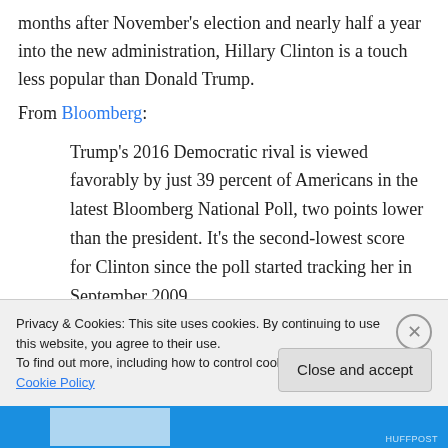months after November's election and nearly half a year into the new administration, Hillary Clinton is a touch less popular than Donald Trump.
From Bloomberg:
Trump's 2016 Democratic rival is viewed favorably by just 39 percent of Americans in the latest Bloomberg National Poll, two points lower than the president. It's the second-lowest score for Clinton since the poll started tracking her in September 2009.
Privacy & Cookies: This site uses cookies. By continuing to use this website, you agree to their use. To find out more, including how to control cookies, see here: Cookie Policy